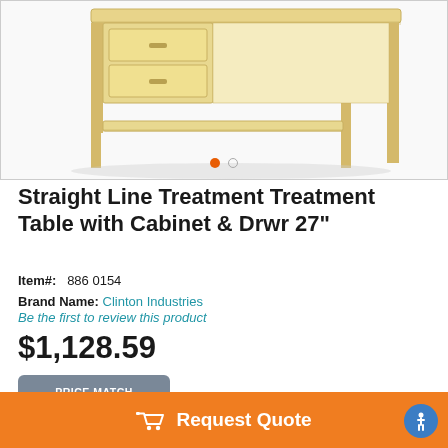[Figure (photo): Photo of a Straight Line Treatment Table with Cabinet & Drawer 27 inch, made of light natural wood, showing drawers and lower shelf. Image carousel with 2 slides.]
Straight Line Treatment Treatment Table with Cabinet & Drwr 27"
Item#:  886 0154
Brand Name: Clinton Industries
Be the first to review this product
$1,128.59
[Figure (other): Price Match Guarantee badge]
Request Quote